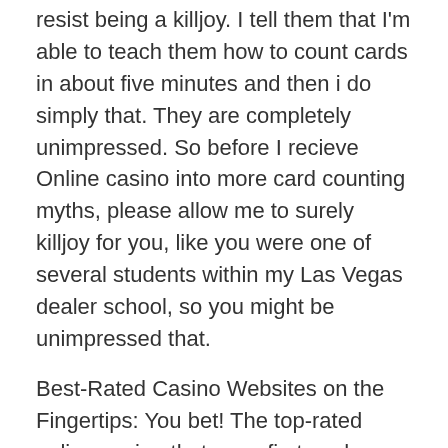resist being a killjoy. I tell them that I'm able to teach them how to count cards in about five minutes and then i do simply that. They are completely unimpressed. So before I recieve Online casino into more card counting myths, please allow me to surely killjoy for you, like you were one of several students within my Las Vegas dealer school, so you might be unimpressed that.
Best-Rated Casino Websites on the Fingertips: You bet! The top-rated online casino that goes first each morning list is usually that of Crucial. Golden casino is reputed to be the most highly ranked, top and extremely famous within the online bettors. One would love to get for contains almost due towards high pay-outs they have at the moment. The pay-outs they give are too good and too large to be handled by you. The Golden Casino is run by plan of the Vegas Knowledge.